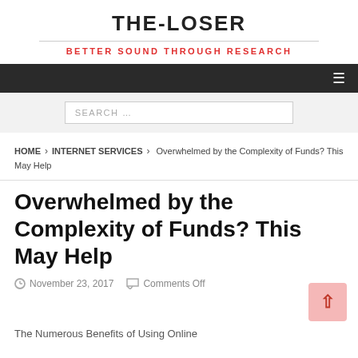THE-LOSER
BETTER SOUND THROUGH RESEARCH
SEARCH ...
HOME > INTERNET SERVICES > Overwhelmed by the Complexity of Funds? This May Help
Overwhelmed by the Complexity of Funds? This May Help
November 23, 2017  Comments Off
The Numerous Benefits of Using Online